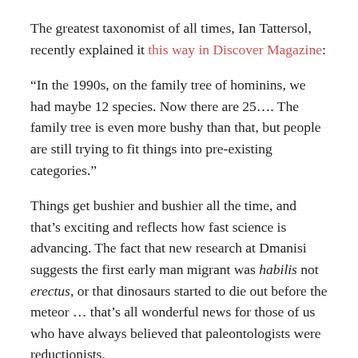The greatest taxonomist of all times, Ian Tattersol, recently explained it this way in Discover Magazine:
“In the 1990s, on the family tree of hominins, we had maybe 12 species. Now there are 25…. The family tree is even more bushy than that, but people are still trying to fit things into pre-existing categories.”
Things get bushier and bushier all the time, and that’s exciting and reflects how fast science is advancing. The fact that new research at Dmanisi suggests the first early man migrant was habilis not erectus, or that dinosaurs started to die out before the meteor … that’s all wonderful news for those of us who have always believed that paleontologists were reductionists.